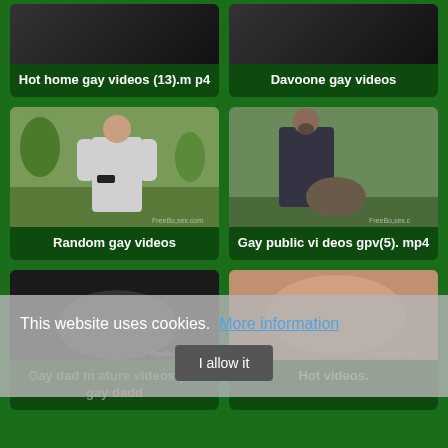[Figure (screenshot): Website screenshot showing a video gallery page with green background and multiple video thumbnail cards]
Hot home gay videos (13).mp4
Davoone gay videos
[Figure (photo): Thumbnail showing a person in gray long-sleeve shirt outdoors]
Random gay videos
[Figure (photo): Thumbnail showing two people outdoors]
Gay public vi deos gpv(5).mp4
[Figure (photo): Thumbnail showing dark scene]
Gay dad m ature videos (via gay dadd
[Figure (photo): Thumbnail showing skin-toned scene]
Hot videos.
This website uses cookies.  More information
I allow it